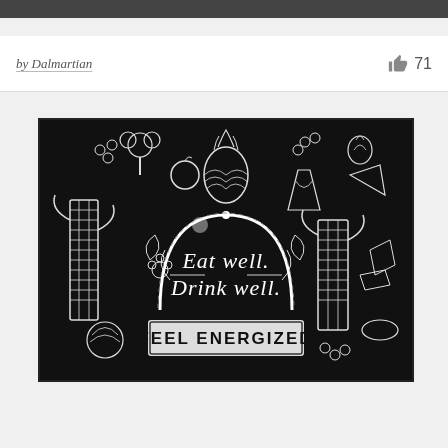by Dalmartian   👍 71
[Figure (illustration): Black and white chalk-style illustration on dark background with food and drink items (pineapple, vegetables, citrus, corn, berries, etc.) surrounding a central arch sign reading 'Eat well. Drink well.' with a rectangular banner below reading 'FEEL ENERGIZED']